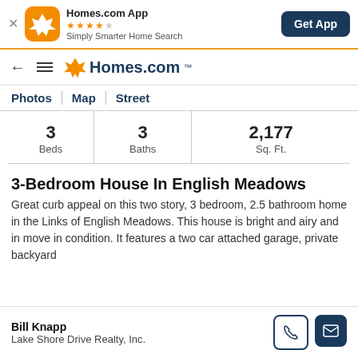[Figure (screenshot): Homes.com app banner with orange icon showing star logo, 4.5 star rating, tagline 'Simply Smarter Home Search', and blue 'Get App' button]
[Figure (logo): Homes.com navigation bar with back arrow, hamburger menu, and Homes.com logo]
Photos | Map | Street
| Beds | Baths | Sq. Ft. |
| --- | --- | --- |
| 3 | 3 | 2,177 |
3-Bedroom House In English Meadows
Great curb appeal on this two story, 3 bedroom, 2.5 bathroom home in the Links of English Meadows. This house is bright and airy and in move in condition. It features a two car attached garage, private backyard
Bill Knapp
Lake Shore Drive Realty, Inc.